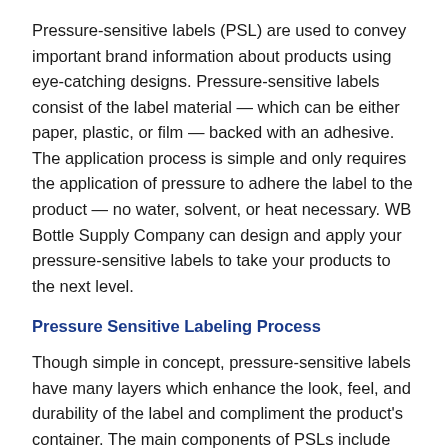Pressure-sensitive labels (PSL) are used to convey important brand information about products using eye-catching designs. Pressure-sensitive labels consist of the label material — which can be either paper, plastic, or film — backed with an adhesive. The application process is simple and only requires the application of pressure to adhere the label to the product — no water, solvent, or heat necessary. WB Bottle Supply Company can design and apply your pressure-sensitive labels to take your products to the next level.
Pressure Sensitive Labeling Process
Though simple in concept, pressure-sensitive labels have many layers which enhance the look, feel, and durability of the label and compliment the product's container. The main components of PSLs include the following:
Liner: This is the backing of the label that protects its